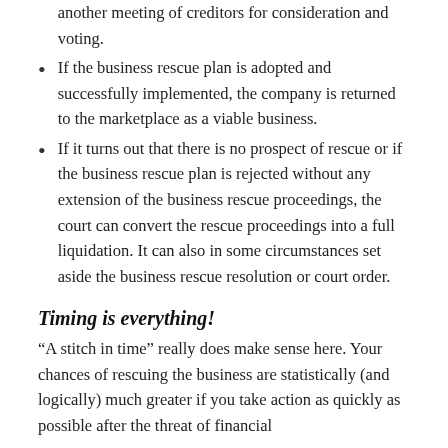another meeting of creditors for consideration and voting.
If the business rescue plan is adopted and successfully implemented, the company is returned to the marketplace as a viable business.
If it turns out that there is no prospect of rescue or if the business rescue plan is rejected without any extension of the business rescue proceedings, the court can convert the rescue proceedings into a full liquidation. It can also in some circumstances set aside the business rescue resolution or court order.
Timing is everything!
“A stitch in time” really does make sense here. Your chances of rescuing the business are statistically (and logically) much greater if you take action as quickly as possible after the threat of financial